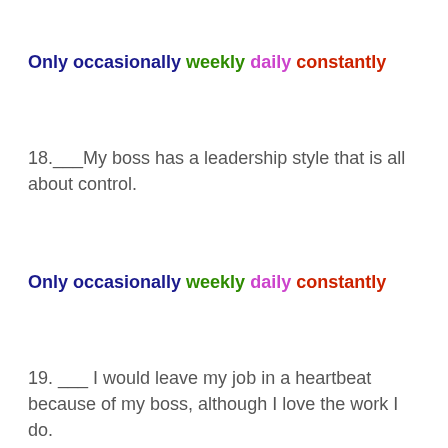Only occasionally weekly daily constantly
18.___My boss has a leadership style that is all about control.
Only occasionally weekly daily constantly
19. ___ I would leave my job in a heartbeat because of my boss, although I love the work I do.